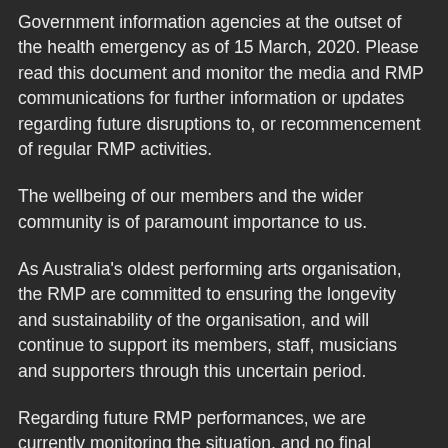Government information agencies at the outset of the health emergency as of 15 March, 2020. Please read this document and monitor the media and RMP communications for further information or updates regarding future disruptions to, or recommencement of regular RMP activities.
The wellbeing of our members and the wider community is of paramount importance to us.
As Australia's oldest performing arts organisation, the RMP are committed to ensuring the longevity and sustainability of the organisation, and will continue to support its members, staff, musicians and supporters through this uncertain period.
Regarding future RMP performances, we are currently monitoring the situation, and no final